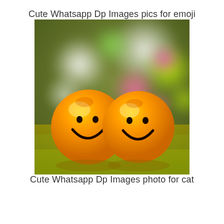Cute Whatsapp Dp Images pics for emoji
[Figure (photo): Two orange smiley face balls sitting on a reflective golden surface with colorful bokeh background (green, white, pink, yellow blurred lights)]
Cute Whatsapp Dp Images photo for cat